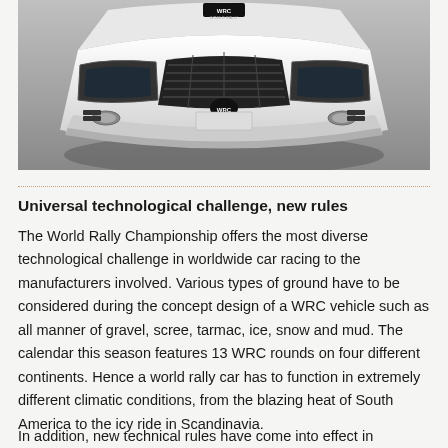[Figure (photo): Front view of a white WRC (World Rally Championship) race car against a gray background. The WRC logo is visible on the front. The image shows the front bumper, splitter, and headlight area of the vehicle.]
Universal technological challenge, new rules
The World Rally Championship offers the most diverse technological challenge in worldwide car racing to the manufacturers involved. Various types of ground have to be considered during the concept design of a WRC vehicle such as all manner of gravel, scree, tarmac, ice, snow and mud. The calendar this season features 13 WRC rounds on four different continents. Hence a world rally car has to function in extremely different climatic conditions, from the blazing heat of South America to the icy ride in Scandinavia.
In addition, new technical rules have come into effect in